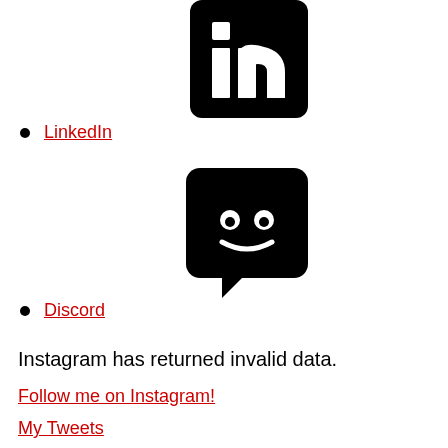[Figure (logo): LinkedIn logo — black rounded square with white 'in' text]
LinkedIn
[Figure (logo): Discord logo — black rounded square with white Discord mascot (ghost/controller face) and speech bubble tail]
Discord
Instagram has returned invalid data.
Follow me on Instagram!
My Tweets